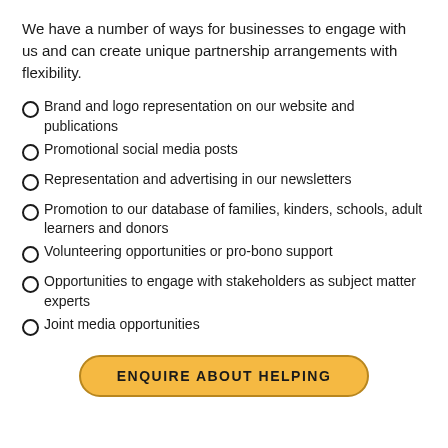We have a number of ways for businesses to engage with us and can create unique partnership arrangements with flexibility.
Brand and logo representation on our website and publications
Promotional social media posts
Representation and advertising in our newsletters
Promotion to our database of families, kinders, schools, adult learners and donors
Volunteering opportunities or pro-bono support
Opportunities to engage with stakeholders as subject matter experts
Joint media opportunities
ENQUIRE ABOUT HELPING